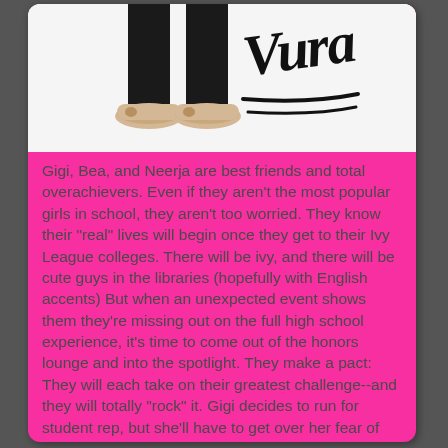[Figure (photo): Photo of a person's lower legs and feet wearing flat beige/nude ballet shoes, alongside a handwritten-style script logo/text in black ink, partially visible at top]
Gigi, Bea, and Neerja are best friends and total overachievers. Even if they aren't the most popular girls in school, they aren't too worried. They know their "real" lives will begin once they get to their Ivy League colleges. There will be ivy, and there will be cute guys in the libraries (hopefully with English accents) But when an unexpected event shows them they're missing out on the full high school experience, it's time to come out of the honors lounge and into the spotlight. They make a pact: They will each take on their greatest challenge--and they will totally "rock" it. Gigi decides to run for student rep, but she'll have to get over her fear of public speaking--and go head-to-head with gorgeous California Will. Bea used to be one of the best skiers around, until she was derailed. It could